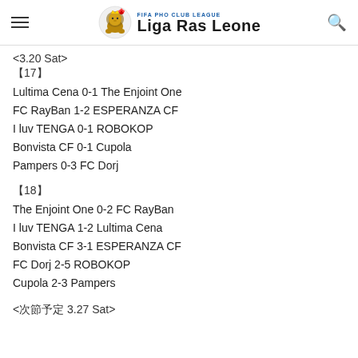Liga Ras Leone - FIFA PHO CLUB LEAGUE
<3.20 Sat>
【17】
Lultima Cena 0-1 The Enjoint One
FC RayBan 1-2 ESPERANZA CF
I luv TENGA 0-1 ROBOKOP
Bonvista CF 0-1 Cupola
Pampers 0-3 FC Dorj
【18】
The Enjoint One 0-2 FC RayBan
I luv TENGA 1-2 Lultima Cena
Bonvista CF 3-1 ESPERANZA CF
FC Dorj 2-5 ROBOKOP
Cupola 2-3 Pampers
<次節予定 3.27 Sat>